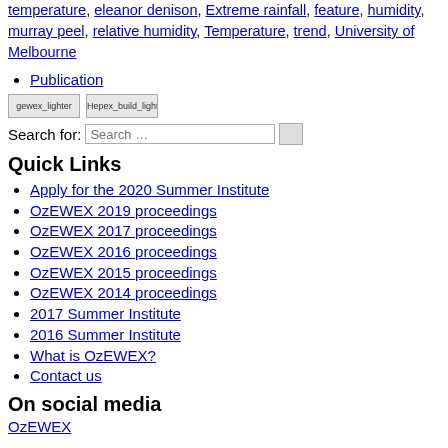temperature, eleanor denison, Extreme rainfall, feature, humidity, murray peel, relative humidity, Temperature, trend, University of Melbourne
Publication
[Figure (logo): gewex lighter logo image placeholder]
[Figure (logo): Hepex build lighter logo image placeholder]
Search for: [Search input box]
Quick Links
Apply for the 2020 Summer Institute
OzEWEX 2019 proceedings
OzEWEX 2017 proceedings
OzEWEX 2016 proceedings
OzEWEX 2015 proceedings
OzEWEX 2014 proceedings
2017 Summer Institute
2016 Summer Institute
What is OzEWEX?
Contact us
On social media
OzEWEX